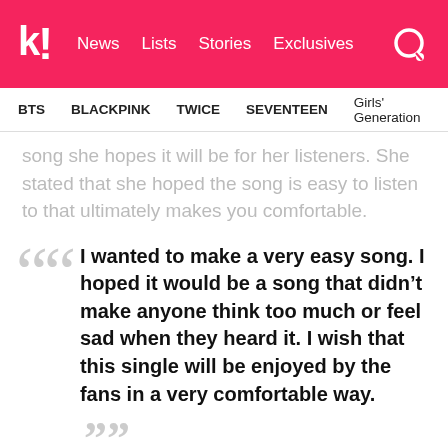k! News  Lists  Stories  Exclusives
BTS  BLACKPINK  TWICE  SEVENTEEN  Girls' Generation
song she hopes it will be for her listeners. She stated that she hoped the song is easy to listen to that ultimately makes you comfortable.
“I wanted to make a very easy song. I hoped it would be a song that didn’t make anyone think too much or feel sad when they heard it. I wish that this single will be enjoyed by the fans in a very comfortable way.” — IU